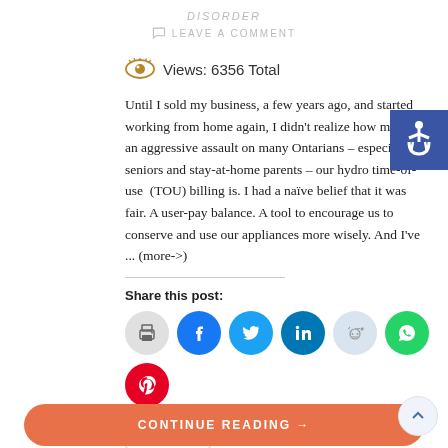DISORDER
LEAVE A COMMENT
Views: 6356 Total
Until I sold my business, a few years ago, and started working from home again, I didn't realize how much of an aggressive assault on many Ontarians – especially seniors and stay-at-home parents – our hydro time-of-use (TOU) billing is. I had a naïve belief that it was fair. A user-pay balance. A tool to encourage us to conserve and use our appliances more wisely. And I've ... (more->)
Share this post:
More
CONTINUE READING →